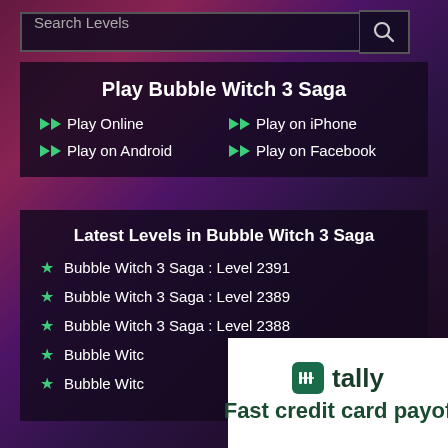Search Levels
Play Bubble Witch 3 Saga
Play Online
Play on iPhone
Play on Android
Play on Facebook
Latest Levels in Bubble Witch 3 Saga
Bubble Witch 3 Saga : Level 2391
Bubble Witch 3 Saga : Level 2389
Bubble Witch 3 Saga : Level 2388
Bubble Witch 3 Saga : Level [truncated]
Bubble Witch 3 Saga : Level [truncated]
[Figure (other): Tally advertisement banner: logo and text 'Fast credit card payof']